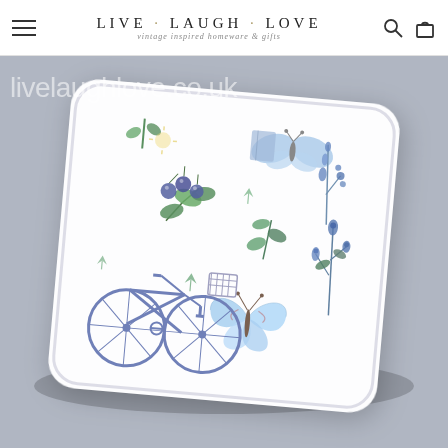LIVE · LAUGH · LOVE vintage inspired homeware & gifts
[Figure (photo): A white square cushion/pillow with a watercolour pattern featuring butterflies, botanical leaves, berries, and a blue bicycle, displayed on a grey background. The website watermark 'livelaughlove.co.uk' appears in white text over the image.]